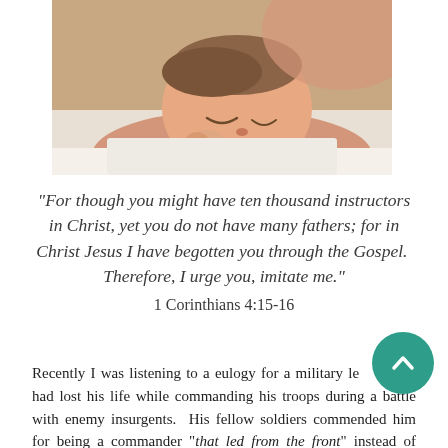[Figure (photo): A sleeping baby lying on white fabric, photographed from above showing the infant's peaceful face and bare skin.]
“For though you might have ten thousand instructors in Christ, yet you do not have many fathers; for in Christ Jesus I have begotten you through the Gospel. Therefore, I urge you, imitate me.”
1 Corinthians 4:15-16
Recently I was listening to a eulogy for a military le… ho had lost his life while commanding his troops during a battle with enemy insurgents. His fellow soldiers commended him for being a commander “that led from the front” instead of directing a battle safely behind the front lines of combat. I think that